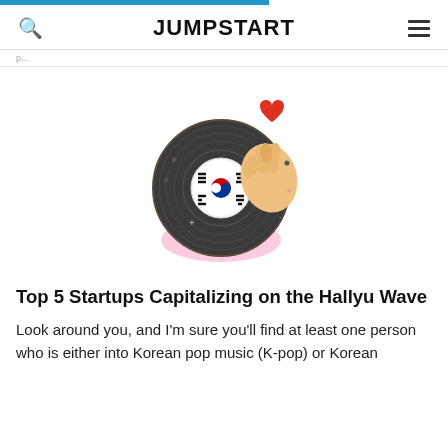JUMPSTART
[Figure (illustration): Cartoon illustration of a vinyl record with South Korean flag design in the center, a hand making a finger-heart gesture, small decorative dots and sparkles, on a pink circular base. A red heart floats above the hand.]
Top 5 Startups Capitalizing on the Hallyu Wave
Look around you, and I'm sure you'll find at least one person who is either into Korean pop music (K-pop) or Korean